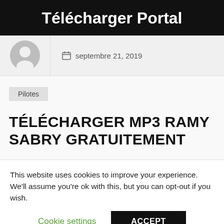Télécharger Portal
septembre 21, 2019
Pilotes
TÉLÉCHARGER MP3 RAMY SABRY GRATUITEMENT
This website uses cookies to improve your experience. We'll assume you're ok with this, but you can opt-out if you wish. Cookie settings ACCEPT